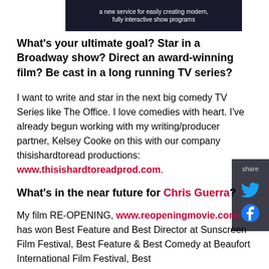[Figure (other): Dark banner image with white text reading 'a new service for easily creating modern, fully interactive show programs']
What's your ultimate goal? Star in a Broadway show? Direct an award-winning film? Be cast in a long running TV series?
I want to write and star in the next big comedy TV Series like The Office. I love comedies with heart. I've already begun working with my writing/producer partner, Kelsey Cooke on this with our company thisishardtoread productions: www.thisishardtoreadprod.com.
What's in the near future for Chris Guerra?
My film RE-OPENING, www.reopeningmovie.com has won Best Feature and Best Director at Sunscreen Film Festival, Best Feature & Best Comedy at Beaufort International Film Festival, Best Comedy at Montreal Independent Film Festival, and